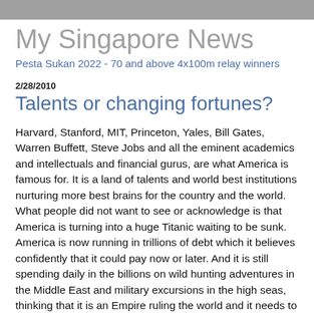My Singapore News
Pesta Sukan 2022 - 70 and above 4x100m relay winners
2/28/2010
Talents or changing fortunes?
Harvard, Stanford, MIT, Princeton, Yales, Bill Gates, Warren Buffett, Steve Jobs and all the eminent academics and intellectuals and financial gurus, are what America is famous for. It is a land of talents and world best institutions nurturing more best brains for the country and the world. What people did not want to see or acknowledge is that America is turning into a huge Titanic waiting to be sunk. America is now running in trillions of debt which it believes confidently that it could pay now or later. And it is still spending daily in the billions on wild hunting adventures in the Middle East and military excursions in the high seas, thinking that it is an Empire ruling the world and it needs to be in every corner of